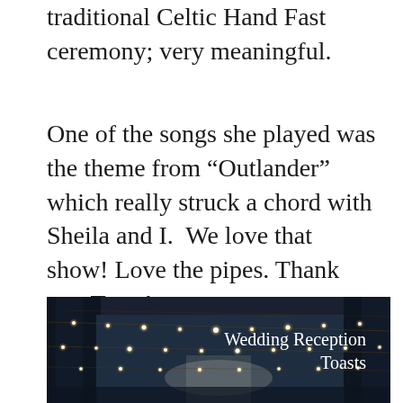traditional Celtic Hand Fast ceremony; very meaningful.
One of the songs she played was the theme from “Outlander” which really struck a chord with Sheila and I. We love that show! Love the pipes. Thank you Tress!
[Figure (photo): Nighttime outdoor wedding reception venue with string lights hanging between trees, creating a warm glowing atmosphere. White tent or arch visible in background.]
Wedding Reception Toasts